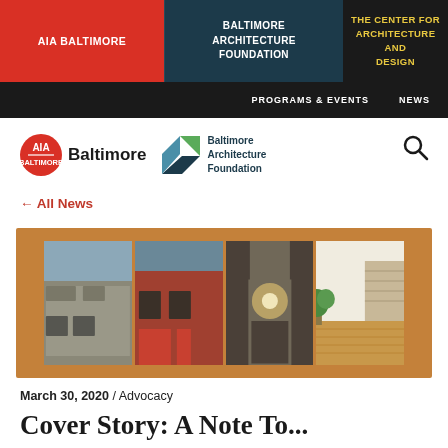AIA BALTIMORE | BALTIMORE ARCHITECTURE FOUNDATION | THE CENTER FOR ARCHITECTURE AND DESIGN
PROGRAMS & EVENTS   NEWS
[Figure (logo): AIA Baltimore logo with red circle AIA mark and 'Baltimore' text, plus Baltimore Architecture Foundation logo with geometric blue/green mark]
← All News
[Figure (photo): Four-panel horizontal strip of photos showing row house renovation stages: exterior stone facade, exterior brick facade, interior under construction, finished interior with stairs and wood floors. Displayed on a brown/copper background.]
March 30, 2020 / Advocacy
Cover Story: A Note To...